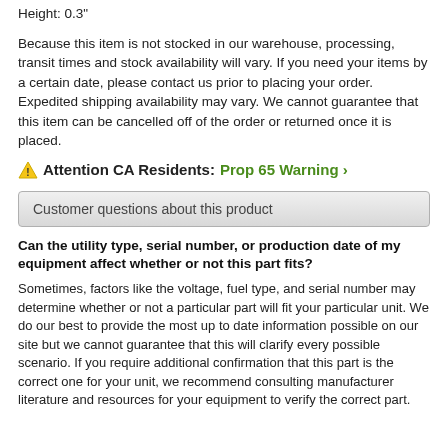Height: 0.3"
Because this item is not stocked in our warehouse, processing, transit times and stock availability will vary. If you need your items by a certain date, please contact us prior to placing your order. Expedited shipping availability may vary. We cannot guarantee that this item can be cancelled off of the order or returned once it is placed.
⚠ Attention CA Residents: Prop 65 Warning ›
Customer questions about this product
Can the utility type, serial number, or production date of my equipment affect whether or not this part fits?
Sometimes, factors like the voltage, fuel type, and serial number may determine whether or not a particular part will fit your particular unit. We do our best to provide the most up to date information possible on our site but we cannot guarantee that this will clarify every possible scenario. If you require additional confirmation that this part is the correct one for your unit, we recommend consulting manufacturer literature and resources for your equipment to verify the correct part.